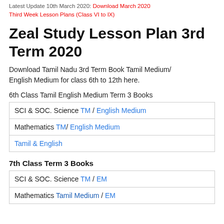Latest Update 10th March 2020: Download March 2020 Third Week Lesson Plans (Class VI to IX)
Zeal Study Lesson Plan 3rd Term 2020
Download Tamil Nadu 3rd Term Book Tamil Medium/ English Medium for class 6th to 12th here.
6th Class Tamil English Medium Term 3 Books
| SCI & SOC. Science TM / English Medium |
| Mathematics TM/ English Medium |
| Tamil & English |
7th Class Term 3 Books
| SCI & SOC. Science TM / EM |
| Mathematics Tamil Medium / EM |